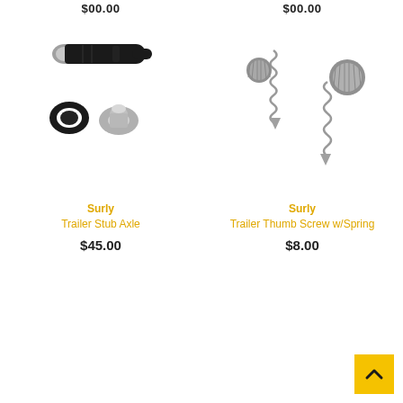$00.00
$00.00
[Figure (photo): Surly Trailer Stub Axle product photo showing a black cylindrical axle, a rubber O-ring, and a small metal washer/fitting]
Surly
Trailer Stub Axle
$45.00
[Figure (photo): Surly Trailer Thumb Screw w/Spring product photo showing two metal thumb screws with coil springs and pointed tips]
Surly
Trailer Thumb Screw w/Spring
$8.00